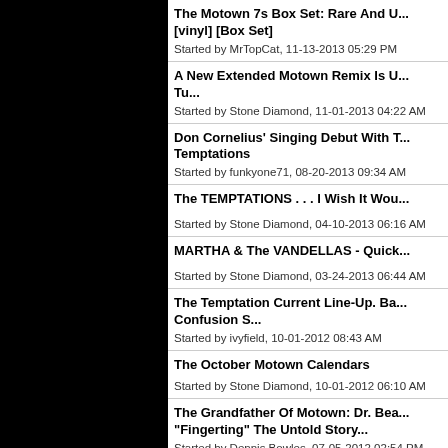The Motown 7s Box Set: Rare And U... [vinyl] [Box Set]
Started by MrTopCat, 11-13-2013 05:29 PM
A New Extended Motown Remix Is U... Tu...
Started by Stone Diamond, 11-01-2013 04:22 AM
Don Cornelius' Singing Debut With T... Temptations
Started by funkyone71, 08-20-2013 09:34 AM
The TEMPTATIONS . . . I Wish It Wou...
Started by Stone Diamond, 04-10-2013 06:16 AM
MARTHA & The VANDELLAS - Quick...
Started by Stone Diamond, 03-24-2013 06:44 AM
The Temptation Current Line-Up. Ba... Confusion S...
Started by ivyfield, 10-01-2012 08:43 AM
The October Motown Calendars
Started by Stone Diamond, 10-01-2012 06:10 AM
The Grandfather Of Motown: Dr. Bea... "Fingerting" The Untold Story...
Started by Dennis Bowles, 07-05-2012 02:54 PM
Temptations Live On With The Youth...